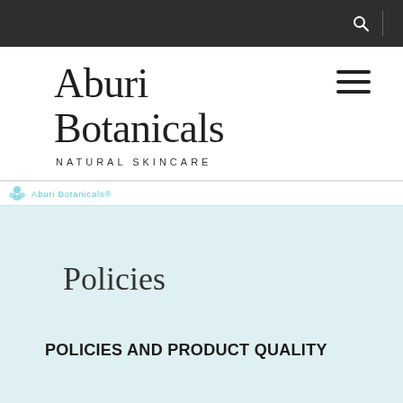Navigation bar with search icon
Aburi Botanicals
NATURAL SKINCARE
Aburi Botanicals®
Policies
POLICIES AND PRODUCT QUALITY